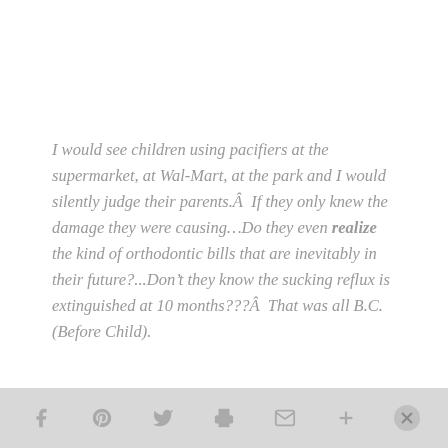I would see children using pacifiers at the supermarket, at Wal-Mart, at the park and I would silently judge their parents.Â  If they only knew the damage they were causing…Do they even realize the kind of orthodontic bills that are inevitably in their future?...Don't they know the sucking reflux is extinguished at 10 months???Â  That was all B.C. (Before Child).
[social sharing icons: facebook, pinterest, twitter, print, email, add, close]